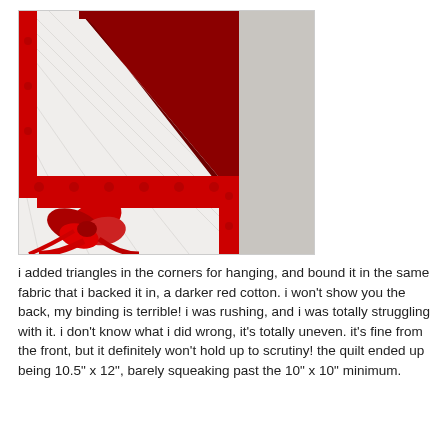[Figure (photo): A close-up photo of a quilt corner showing white quilted fabric with diagonal stitching, a dark red/maroon triangular flap folded over the corner for hanging, a red polka-dot fabric strip along the edge, and a decorative red ribbon/bow element in the lower left corner.]
i added triangles in the corners for hanging, and bound it in the same fabric that i backed it in, a darker red cotton. i won't show you the back, my binding is terrible! i was rushing, and i was totally struggling with it. i don't know what i did wrong, it's totally uneven. it's fine from the front, but it definitely won't hold up to scrutiny! the quilt ended up being 10.5" x 12", barely squeaking past the 10" x 10" minimum.